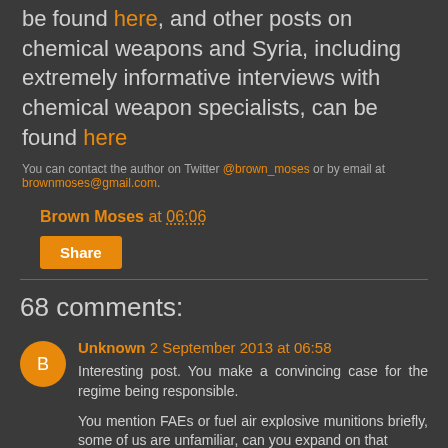be found here, and other posts on chemical weapons and Syria, including extremely informative interviews with chemical weapon specialists, can be found here
You can contact the author on Twitter @brown_moses or by email at brownmoses@gmail.com.
Brown Moses at 06:06
Share
68 comments:
Unknown 2 September 2013 at 06:58
Interesting post. You make a convincing case for the regime being responsible.

You mention FAEs or fuel air explosive munitions briefly, some of us are unfamiliar, can you expand on that

Reply